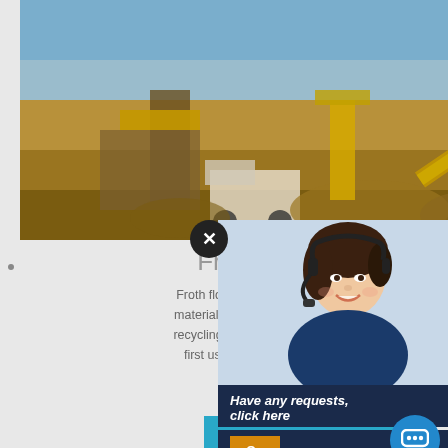[Figure (photo): Aerial view of a mining/quarry site with yellow heavy machinery, conveyor belts, trucks, and stockpiles of materials under a blue sky]
Froth flotation - Wikip
Froth flotation is a process for selectively separating materials from hydrophilic.This is used in mineral processing, recycling and waste-water treatment industries. Historically first used in the mining industry, where it was one...
CHAT ONLINE
[Figure (photo): Customer service representative, a woman wearing a headset, smiling]
Have any requests, click here
Enquiry
limingjlmofen@sina.com
[Figure (photo): Mining site with yellow and blue heavy equipment and machinery in an open pit or industrial area]